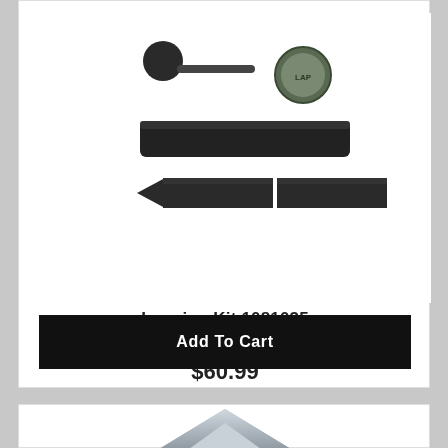[Figure (photo): Lapping kit components: a ball-tipped handle, a cylindrical lapping rod, two pointed lapping sticks, and a small jar of lapping compound, all in dark/black finish]
Lapping Kit 1081035
Battenfeld
$60.99
Add To Cart
[Figure (photo): Partial view of another product below, appears to be a metallic/silver colored item, partially visible at the bottom of the page]